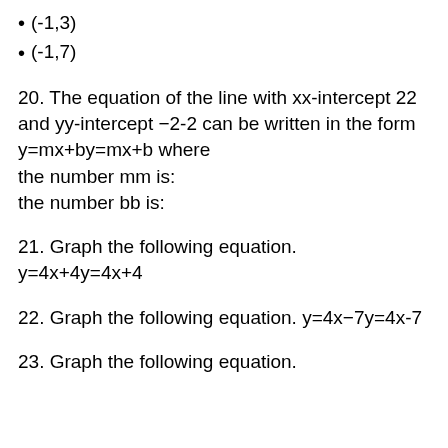(-1,3)
(-1,7)
20. The equation of the line with xx-intercept 22 and yy-intercept −2-2 can be written in the form y=mx+by=mx+b where
the number mm is:
the number bb is:
21. Graph the following equation.
y=4x+4y=4x+4
22. Graph the following equation. y=4x−7y=4x-7
23. Graph the following equation.